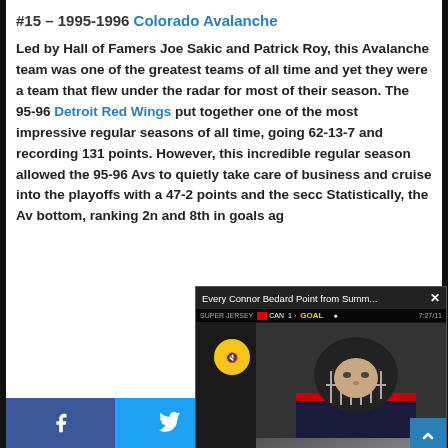#15 – 1995-1996 Colorado Avalanche
Led by Hall of Famers Joe Sakic and Patrick Roy, this Avalanche team was one of the greatest teams of all time and yet they were a team that flew under the radar for most of their season. The 95-96 Detroit Red Wings put together one of the most impressive regular seasons of all time, going 62-13-7 and recording 131 points. However, this incredible regular season allowed the 95-96 Avs to quietly take care of business and cruise into the playoffs with a 47-2... points and the sec... Statistically, the Av... bottom, ranking 2n... and 8th in goals ag...
[Figure (screenshot): Video popup overlay showing 'Every Connor Bedard Point from Summ...' with a hockey game scoreboard showing a GOAL, and a player in a hockey helmet visible. Mute button shown as yellow circle. Close (X) button on top right.]
Facebook | Twitter | WhatsApp | Telegram share buttons